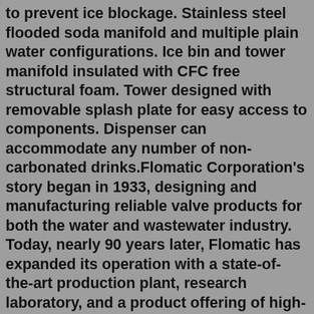to prevent ice blockage. Stainless steel flooded soda manifold and multiple plain water configurations. Ice bin and tower manifold insulated with CFC free structural foam. Tower designed with removable splash plate for easy access to components. Dispenser can accommodate any number of non-carbonated drinks.Flomatic Corporation's story began in 1933, designing and manufacturing reliable valve products for both the water and wastewater industry. Today, nearly 90 years later, Flomatic has expanded its operation with a state-of-the-art production plant, research laboratory, and a product offering of high-quality valves built to last, to meet your ever-changing needs.Perfect for cafeterias, buffets, break-rooms, and countless other food service locations, this Servend 2705020 SV-150 6 valve sanitary lever countertop ice/beverage dispenser makes it easy to offer a variety of flavors in a one-stop beverage station. It features 6 Flomatic valves to dispense a variety of beverages and a 150 lb. ice storage bin to dispense ice for cold, refreshing drinks.&lt;br&gt; This is an instructional video...